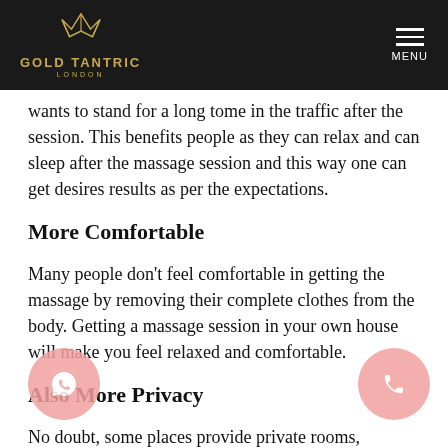GOLD TANTRIC LONDON | MENU
wants to stand for a long tome in the traffic after the session. This benefits people as they can relax and can sleep after the massage session and this way one can get desires results as per the expectations.
More Comfortable
Many people don't feel comfortable in getting the massage by removing their complete clothes from the body. Getting a massage session in your own house will make you feel relaxed and comfortable.
Also More Privacy
No doubt, some places provide private rooms, however, there are some common areas that a